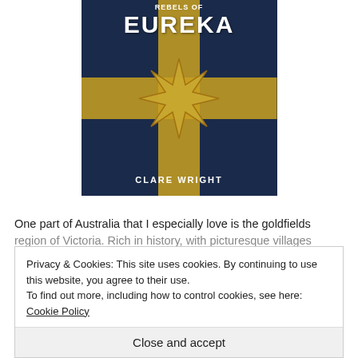[Figure (illustration): Book cover of 'Eureka' by Clare Wright. Dark navy blue background with a gold cross and an eight-pointed gold star in the center. Text 'EUREKA' in large white bold letters at top, 'CLARE WRIGHT' in white bold letters at bottom.]
One part of Australia that I especially love is the goldfields region of Victoria. Rich in history, with picturesque villages
Privacy & Cookies: This site uses cookies. By continuing to use this website, you agree to their use.
To find out more, including how to control cookies, see here: Cookie Policy
Close and accept
and was short-listed for a swag of others